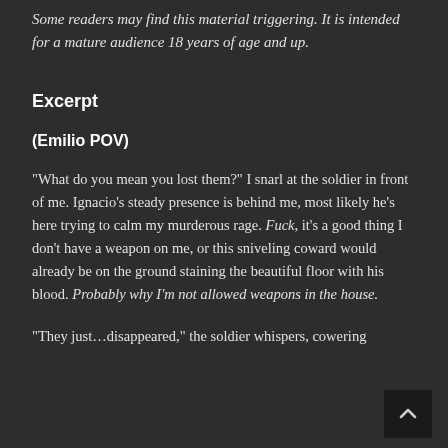Some readers may find this material triggering. It is intended for a mature audience 18 years of age and up.
Excerpt
(Emilio POV)
“What do you mean you lost them?” I snarl at the soldier in front of me. Ignacio’s steady presence is behind me, most likely he’s here trying to calm my murderous rage. Fuck, it’s a good thing I don’t have a weapon on me, or this sniveling coward would already be on the ground staining the beautiful floor with his blood. Probably why I’m not allowed weapons in the house.
“They just…disappeared,” the soldier whispers, cowering